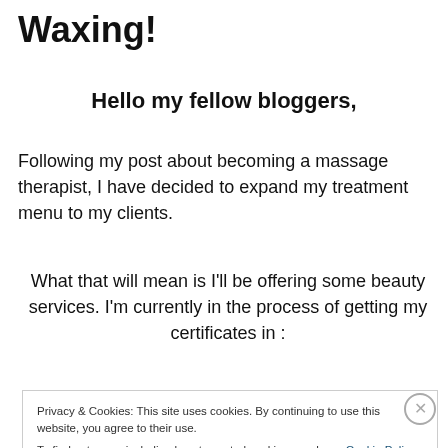Waxing!
Hello my fellow bloggers,
Following my post about becoming a massage therapist,  I have decided to expand my treatment menu to my clients.
What that will mean is I'll be offering some beauty services. I'm currently in the process of getting my certificates in :
Privacy & Cookies: This site uses cookies. By continuing to use this website, you agree to their use.
To find out more, including how to control cookies, see here: Cookie Policy